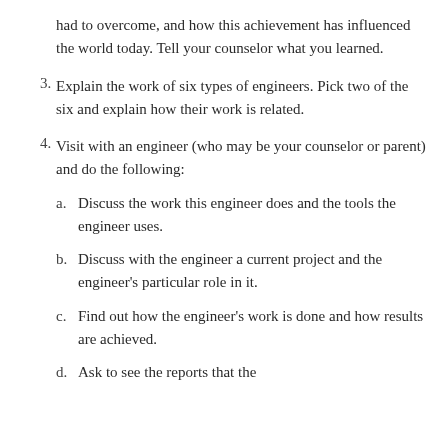(continuation) had to overcome, and how this achievement has influenced the world today. Tell your counselor what you learned.
3. Explain the work of six types of engineers. Pick two of the six and explain how their work is related.
4. Visit with an engineer (who may be your counselor or parent) and do the following:
a. Discuss the work this engineer does and the tools the engineer uses.
b. Discuss with the engineer a current project and the engineer’s particular role in it.
c. Find out how the engineer’s work is done and how results are achieved.
d. Ask to see the reports that the